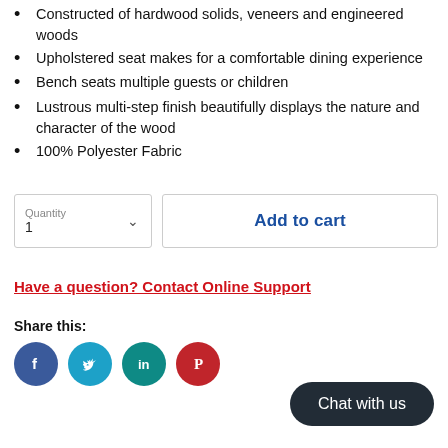Constructed of hardwood solids, veneers and engineered woods
Upholstered seat makes for a comfortable dining experience
Bench seats multiple guests or children
Lustrous multi-step finish beautifully displays the nature and character of the wood
100% Polyester Fabric
Quantity 1 | Add to cart
Have a question? Contact Online Support
Share this:
[Figure (infographic): Social media share icons: Facebook (blue circle), Twitter (light blue circle), LinkedIn (teal circle), Pinterest (red circle)]
Chat with us